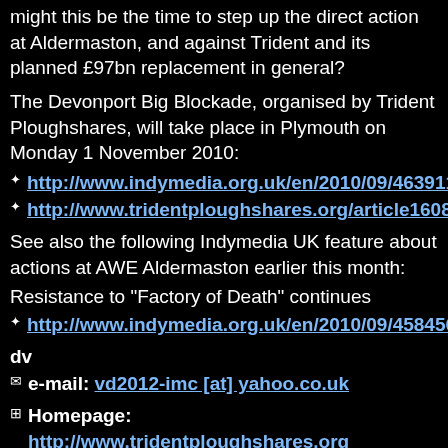might this be the time to step up the direct action at Aldermaston, and against Trident and its planned £97bn replacement in general?
The Devonport Big Blockade, organised by Trident Ploughshares, will take place in Plymouth on Monday 1 November 2010:
http://www.indymedia.org.uk/en/2010/09/463911.html
http://www.tridentploughshares.org/article1608
See also the following Indymedia UK feature about actions at AWE Aldermaston earlier this month:
Resistance to "Factory of Death" continues
http://www.indymedia.org.uk/en/2010/09/458456.html
dv
e-mail: vd2012-imc [at] yahoo.co.uk
Homepage: http://www.tridentploughshares.org
Comments
Display the following 3 comments